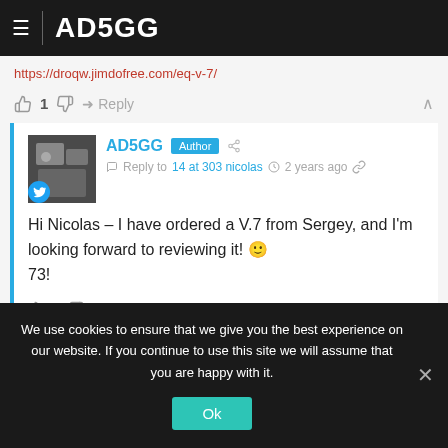AD5GG
https://droqw.jimdofree.com/eq-v-7/
👍 1 👎  → Reply  ∧
AD5GG Author — Reply to 14 at 303 nicolas — 2 years ago
Hi Nicolas – I have ordered a V.7 from Sergey, and I'm looking forward to reviewing it! 🙂 73!
👍 2 👎  → Reply
We use cookies to ensure that we give you the best experience on our website. If you continue to use this site we will assume that you are happy with it.